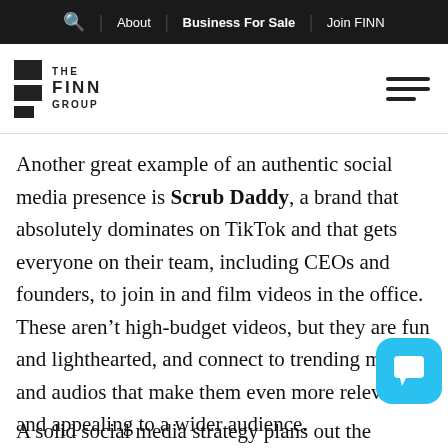🔍  |  About  |  Business For Sale  |  Join FINN
[Figure (logo): The Finn Group logo with stacked black rectangles and text THE FINN GROUP, with hamburger menu icon on right]
Another great example of an authentic social media presence is Scrub Daddy, a brand that absolutely dominates on TikTok and that gets everyone on their team, including CEOs and founders, to join in and film videos in the office. These aren't high-budget videos, but they are fun and lighthearted, and connect to trending memes and audios that make them even more relevant and appealing to a wider audience.
A solid social media strategy plans out the